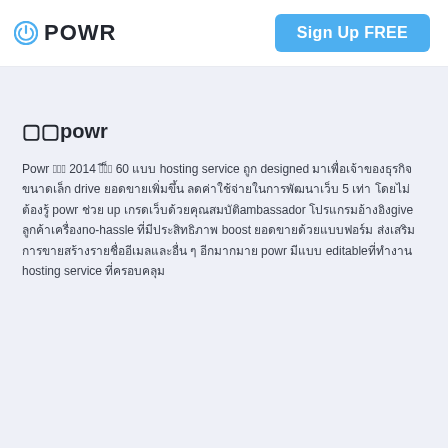POWR | Sign Up FREE
🔲🔲powr
Powr เปิด 2014 มีกว่า 60 แบบ hosting service ถูก designed มาเพื่อเจ้าของธุรกิจขนาดเล็ก drive ยอดขายเพิ่มขึ้น ลดค่าใช้จ่ายในการพัฒนาเว็บ 5 เท่า โดยไม่ต้องรู้ powr ช่วย up เกรดเว็บด้วยคุณสมบัติambassador โปรแกรมอ้างอิงgive ลูกค้าเครื่องno-hassle ที่มีประสิทธิภาพ boost ยอดขายด้วยแบบฟอร์ม ส่งเสริมการขายสร้างรายชื่ออีเมลและอื่น ๆ อีกมากมาย powr มีแบบ editable ที่ทำงาน hosting service ที่ครอบคลุม